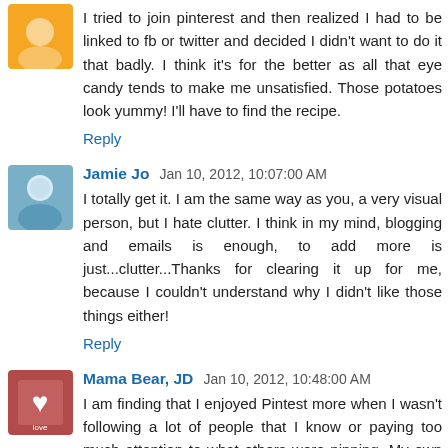I tried to join pinterest and then realized I had to be linked to fb or twitter and decided I didn't want to do it that badly. I think it's for the better as all that eye candy tends to make me unsatisfied. Those potatoes look yummy! I'll have to find the recipe.
Reply
Jamie Jo  Jan 10, 2012, 10:07:00 AM
I totally get it. I am the same way as you, a very visual person, but I hate clutter. I think in my mind, blogging and emails is enough, to add more is just...clutter...Thanks for clearing it up for me, because I couldn't understand why I didn't like those things either!
Reply
Mama Bear, JD  Jan 10, 2012, 10:48:00 AM
I am finding that I enjoyed Pintest more when I wasn't following a lot of people that I know or paying too much attention to what others were pinning. My own cousin was...